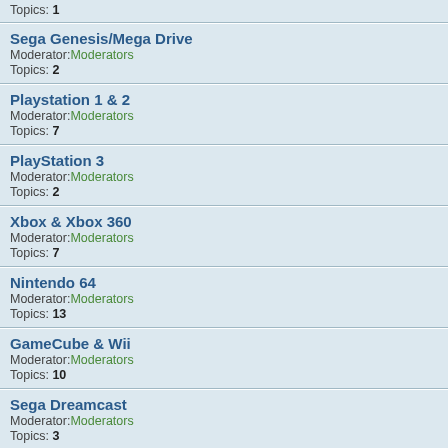Topics: 1
Sega Genesis/Mega Drive
Moderator: Moderators
Topics: 2
Playstation 1 & 2
Moderator: Moderators
Topics: 7
PlayStation 3
Moderator: Moderators
Topics: 2
Xbox & Xbox 360
Moderator: Moderators
Topics: 7
Nintendo 64
Moderator: Moderators
Topics: 13
GameCube & Wii
Moderator: Moderators
Topics: 10
Sega Dreamcast
Moderator: Moderators
Topics: 3
Batteries
Moderator: Moderators
Topics: 14